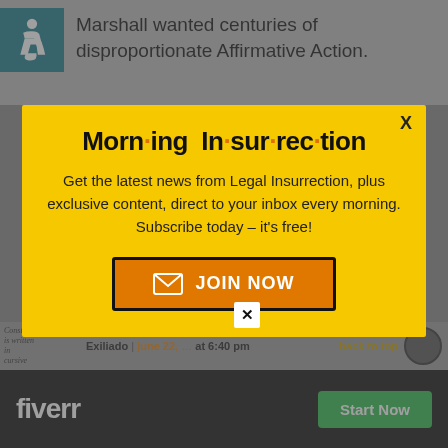[Figure (screenshot): Accessibility icon (wheelchair user) in teal box]
Marshall wanted centuries of disproportionate Affirmative Action.
[Figure (infographic): Modal popup with yellow background for Morning Insurrection newsletter subscription. Title: 'Morn·ing In·sur·rec·tion'. Body text: 'Get the latest news from Legal Insurrection, plus exclusive content, direct to your inbox every morning. Subscribe today – it's free!' Button: 'JOIN NOW']
Exiliado | june 22, [..] at 6:40 pm
[Figure (logo): Fiverr advertisement bar with logo and Start Now button]